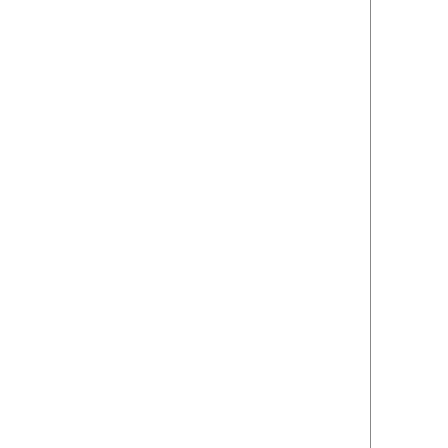Vim variable "v:register" and f... (Michael Geddes)
"v" flag in 'cpoptions': Leave ... (Phillip Vandry)
Dosinst.exe also finds gvimext.e... running install in the "src" di...
Support tag files that were sor...
When completing a wildcard in a... only the last part ("Makefile")... command line completion. (Flem...
Also recognize "rxvt" as an xte...
Proper X11 session management. ... used by popular desktops. (Nei... Not used for Gnome 2, it has its...
Support BOR, DEBUG and SPAWNO a... Briscoe)
Support page breaks for printin... 'printoptions'. (Mike Williams...